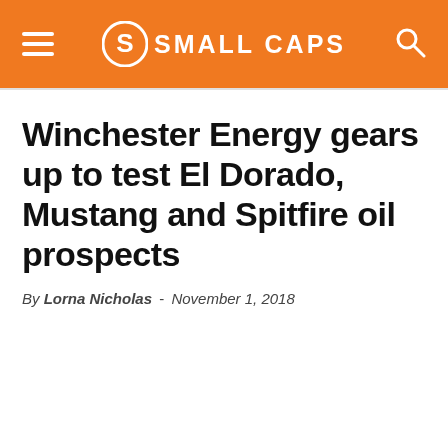SMALL CAPS
Winchester Energy gears up to test El Dorado, Mustang and Spitfire oil prospects
By Lorna Nicholas - November 1, 2018